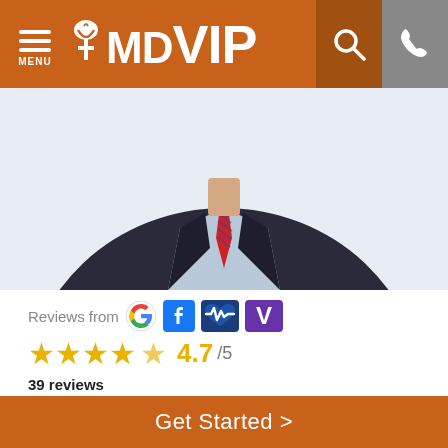MDVIP
[Figure (photo): Professional headshot of a doctor in a dark suit with a red tie and blue shirt, cropped to show neck and shoulders]
Reviews from [Google] [Facebook] [Vitals] [Vitals V]
4.7 /5
39 reviews
Annual Membership Fee
QUARTERLY | SEMI-ANNUAL | ANNUAL
$477.50 every 3 months *
Get Started >